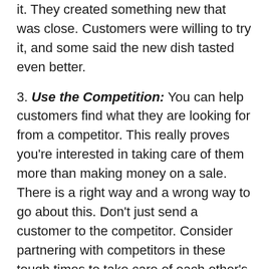it. They created something new that was close. Customers were willing to try it, and some said the new dish tasted even better.
3. Use the Competition: You can help customers find what they are looking for from a competitor. This really proves you're interested in taking care of them more than making money on a sale. There is a right way and a wrong way to go about this. Don't just send a customer to the competitor. Consider partnering with competitors in these tough times to take care of each other's customers. Or purchase the product from a competitor and resell it (with little to no mark-up) to your customer.